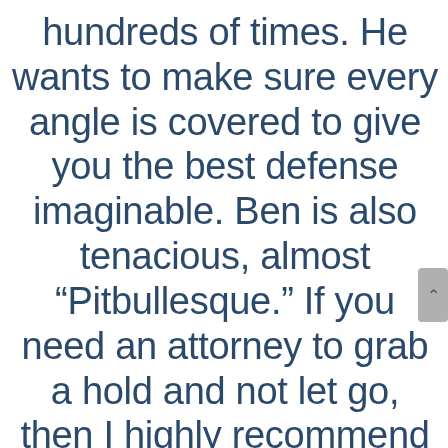hundreds of times. He wants to make sure every angle is covered to give you the best defense imaginable. Ben is also tenacious, almost “Pitbullesque.” If you need an attorney to grab a hold and not let go, then I highly recommend Ben Sifuentes. I was terminated from my job on a Thursday, by Monday I was rehired. Ben will use every legal avenue he has and knows